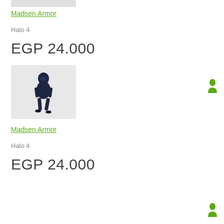[Figure (photo): Partial product image at top (cropped), gray background]
Madsen Armor
Halo 4
EGP 24.000
[Figure (photo): Avatar character wearing dark navy Madsen Armor suit with helmet, standing pose on light gray background]
[Figure (illustration): Small green avatar/person icon]
Madsen Armor
Halo 4
EGP 24.000
[Figure (illustration): Small green avatar/person icon]